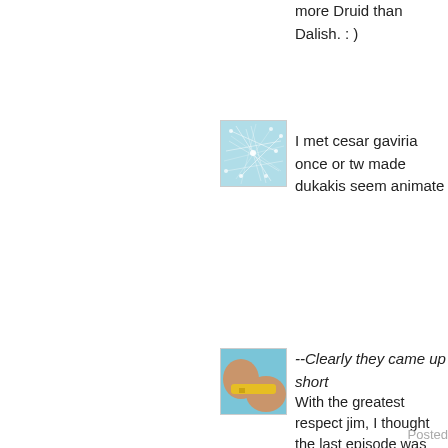more Druid than Dalish. : )
[Figure (illustration): Blue abstract network/neuron illustration avatar]
I met cesar gaviria once or tw made dukakis seem animate
[Figure (photo): Close-up photo of person in yellow swimwear avatar]
--Clearly they came up short
With the greatest respect jim, I thought the last episode was watched. What they came up short reg Problem is people didn't get t Blofeld or Goldfinger at the e So when to answer the quest was and McGoohan held up a are, YOU ARE, the viewers w didn't get it, or worse, they di A prophet is not without hono
Posted